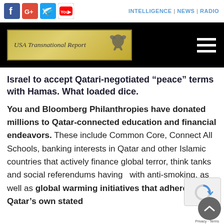INTELLIGENCE | NEWS | RADIO
[Figure (logo): USA Transnational Report logo with eagle on golden/yellow background]
Israel to accept Qatari-negotiated “peace” terms with Hamas. What loaded dice.
You and Bloomberg Philanthropies have donated millions to Qatar-connected education and financial endeavors. These include Common Core, Connect All Schools, banking interests in Qatar and other Islamic countries that actively finance global terror, think tanks and social referendums having with anti-smoking, as well as global warming initiatives that adhere to Qatar’s own stated